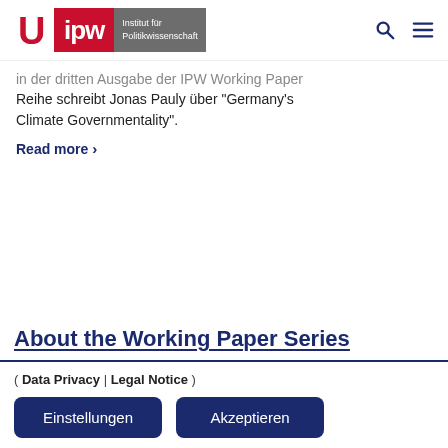[Figure (logo): IPW Institut für Politikwissenschaft university logo with red U symbol and red/gray IPW banner]
in der dritten Ausgabe der IPW Working Paper Reihe schreibt Jonas Pauly über "Germany's Climate Governmentality".
Read more >
About the Working Paper Series
( Data Privacy | Legal Notice )
Einstellungen    Akzeptieren